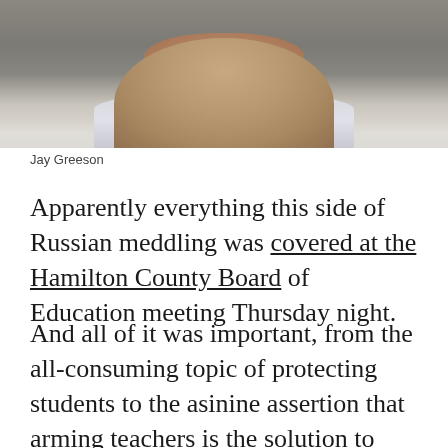[Figure (photo): Headshot photo of Jay Greeson, a man in a light-colored collared shirt against a neutral background.]
Jay Greeson
Apparently everything this side of Russian meddling was covered at the Hamilton County Board of Education meeting Thursday night.
And all of it was important, from the all-consuming topic of protecting students to the asinine assertion that arming teachers is the solution to protecting them to building projects to new organization charts to some Opportunity Zone stats.